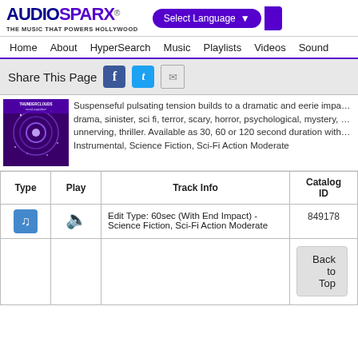[Figure (logo): AudioSparx logo with tagline 'The Music That Powers Hollywood']
Select Language
Home   About   HyperSearch   Music   Playlists   Videos   Sound
Share This Page
Suspenseful pulsating tension builds to a dramatic and eerie impact. drama, sinister, sci fi, terror, scary, horror, psychological, mystery, unnerving, thriller. Available as 30, 60 or 120 second duration with Instrumental, Science Fiction, Sci-Fi Action Moderate
| Type | Play | Track Info | Catalog ID |
| --- | --- | --- | --- |
| [music icon] | [speaker icon] | Edit Type: 60sec (With End Impact) - Science Fiction, Sci-Fi Action Moderate | 849178 |